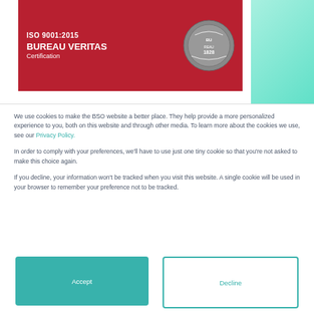[Figure (logo): Bureau Veritas ISO 9001:2015 Certification badge on red background with seal logo, next to teal/mint gradient background panel]
We use cookies to make the BSO website a better place. They help provide a more personalized experience to you, both on this website and through other media. To learn more about the cookies we use, see our Privacy Policy.
In order to comply with your preferences, we'll have to use just one tiny cookie so that you're not asked to make this choice again.
If you decline, your information won't be tracked when you visit this website. A single cookie will be used in your browser to remember your preference not to be tracked.
Accept
Decline